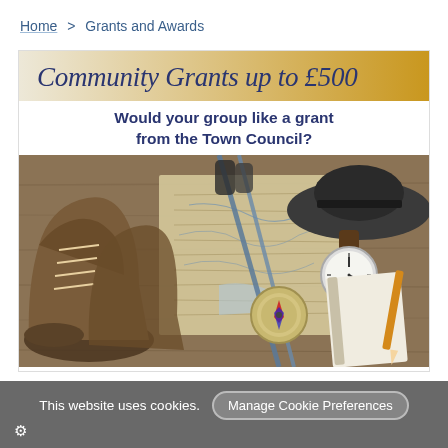Home > Grants and Awards
[Figure (infographic): Community Grants banner with gradient background (cream to gold) reading 'Community Grants up to £500', subtitle 'Would your group like a grant from the Town Council?', and a photograph of outdoor hiking/adventure gear including boots, trekking poles, a compass, a hat, a watch and a map laid on a wooden surface.]
This website uses cookies.  [Manage Cookie Preferences]